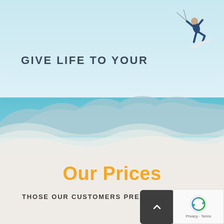[Figure (photo): Kitesurfer performing aerial trick against a light blue sky, with mountains and turquoise sea visible in the lower portion, transitioning to a wavy sandy beach area.]
GIVE LIFE TO YOUR
Our Prices
THOSE OUR CUSTOMERS PREFER